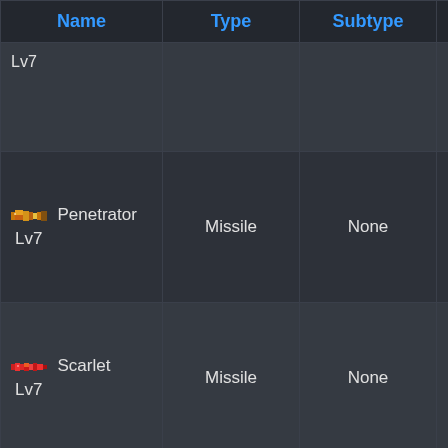| Name | Type | Subtype | Buff |
| --- | --- | --- | --- |
| Lv7 |  |  |  |
| [icon] Penetrator Lv7 | Missile | None |  |
| [icon] Scarlet Lv7 | Missile | None |  |
| [icon] EMP Missile Lv7 | Missile | None |  |